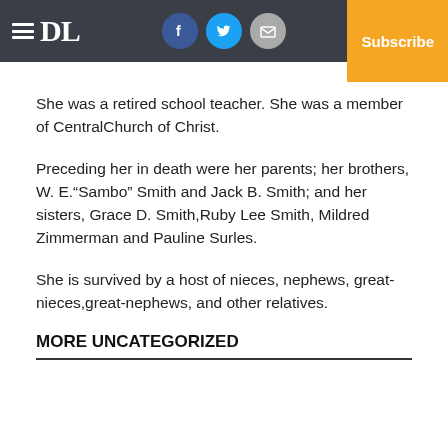DL | Log In | Subscribe
She was a retired school teacher. She was a member of CentralChurch of Christ.
Preceding her in death were her parents; her brothers, W. E.“Sambo” Smith and Jack B. Smith; and her sisters, Grace D. Smith,Ruby Lee Smith, Mildred Zimmerman and Pauline Surles.
She is survived by a host of nieces, nephews, great-nieces,great-nephews, and other relatives.
MORE UNCATEGORIZED